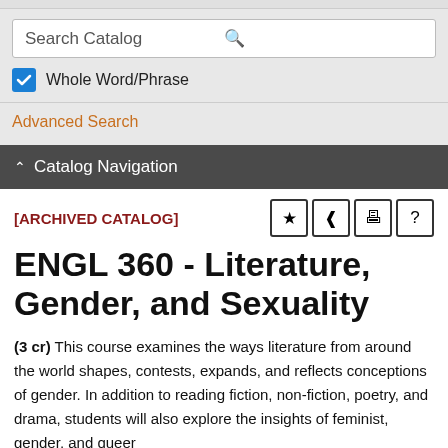[Figure (screenshot): Search catalog input box with magnifying glass icon]
Whole Word/Phrase
Advanced Search
^ Catalog Navigation
[ARCHIVED CATALOG]
ENGL 360 - Literature, Gender, and Sexuality
(3 cr) This course examines the ways literature from around the world shapes, contests, expands, and reflects conceptions of gender. In addition to reading fiction, non-fiction, poetry, and drama, students will also explore the insights of feminist, gender, and queer